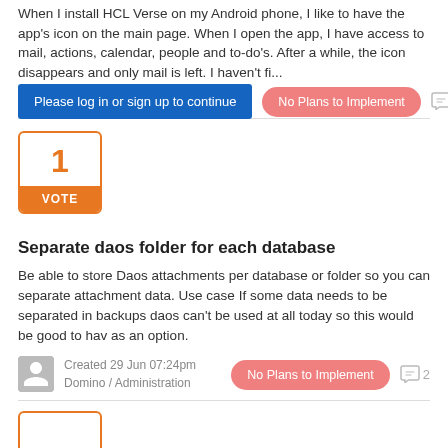When I install HCL Verse on my Android phone, I like to have the app's icon on the main page. When I open the app, I have access to mail, actions, calendar, people and to-do's. After a while, the icon disappears and only mail is left. I haven't fi...
Please log in or sign up to continue
No Plans to Implement
1
1 VOTE
Separate daos folder for each database
Be able to store Daos attachments per database or folder so you can separate attachment data. Use case If some data needs to be separated in backups daos can't be used at all today so this would be good to hav as an option.
Created 29 Jun 07:24pm
Domino / Administration
No Plans to Implement
2